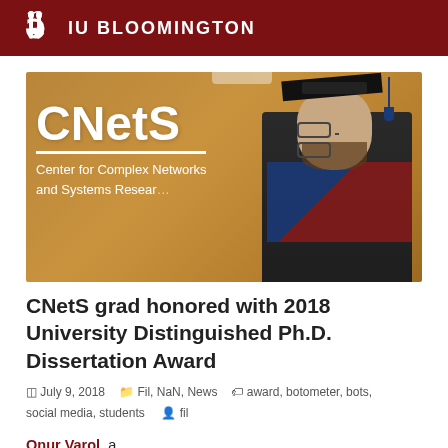IU BLOOMINGTON
[Figure (photo): Graduate student in academic regalia (cap and gown) standing in front of a brown wall with the CNetS Center for Complex Networks and Systems Research sign.]
CNetS grad honored with 2018 University Distinguished Ph.D. Dissertation Award
July 9, 2018   Fil, NaN, News   award, botometer, bots, social media, students   fil
Onur Varol, a